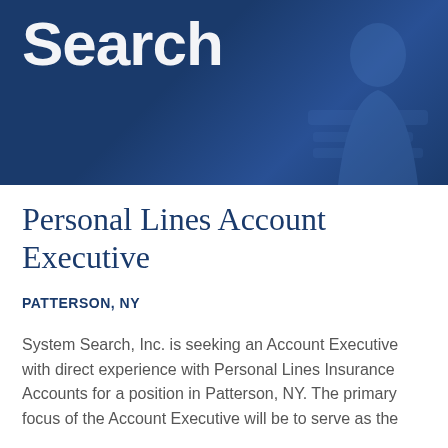[Figure (illustration): Dark blue header banner with 'Search' text in large white bold font and a faint silhouette of a person in the background]
Personal Lines Account Executive
PATTERSON, NY
System Search, Inc. is seeking an Account Executive with direct experience with Personal Lines Insurance Accounts for a position in Patterson, NY. The primary focus of the Account Executive will be to serve as the